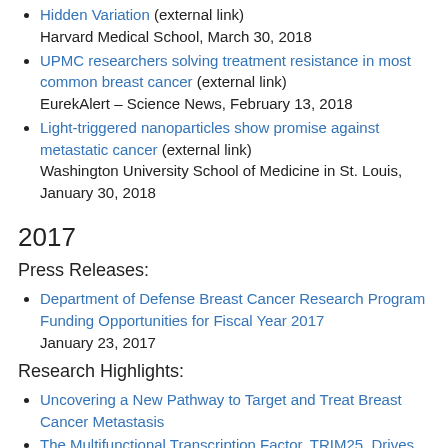Hidden Variation (external link)
Harvard Medical School, March 30, 2018
UPMC researchers solving treatment resistance in most common breast cancer (external link)
EurekAlert – Science News, February 13, 2018
Light-triggered nanoparticles show promise against metastatic cancer (external link)
Washington University School of Medicine in St. Louis, January 30, 2018
2017
Press Releases:
Department of Defense Breast Cancer Research Program Funding Opportunities for Fiscal Year 2017
January 23, 2017
Research Highlights:
Uncovering a New Pathway to Target and Treat Breast Cancer Metastasis
The Multifunctional Transcription Factor, TRIM25, Drives